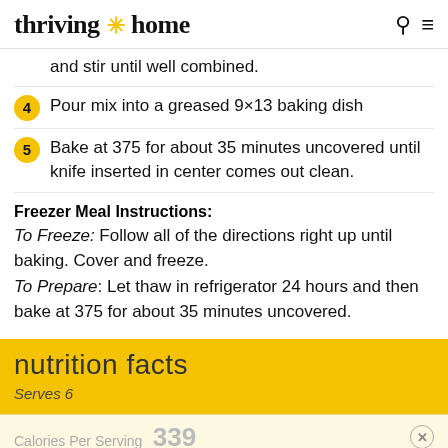thriving * home
and stir until well combined.
4 Pour mix into a greased 9×13 baking dish
5 Bake at 375 for about 35 minutes uncovered until knife inserted in center comes out clean.
Freezer Meal Instructions:
To Freeze: Follow all of the directions right up until baking. Cover and freeze.
To Prepare: Let thaw in refrigerator 24 hours and then bake at 375 for about 35 minutes uncovered.
nutrition facts
Serves 6
Calories Per Serving 339